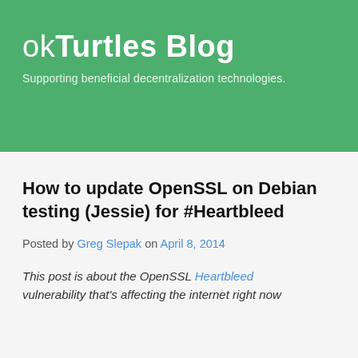okTurtles Blog
Supporting beneficial decentralization technologies.
How to update OpenSSL on Debian testing (Jessie) for #Heartbleed
Posted by Greg Slepak on April 8, 2014
This post is about the OpenSSL Heartbleed vulnerability that's affecting the internet right now